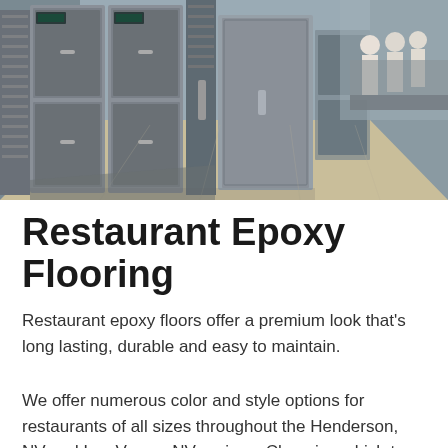[Figure (photo): Commercial kitchen interior with stainless steel industrial ovens and equipment lined up along both sides of a wide corridor with light-colored epoxy flooring. Workers in white uniforms visible in the background on the right side.]
Restaurant Epoxy Flooring
Restaurant epoxy floors offer a premium look that's long lasting, durable and easy to maintain.
We offer numerous color and style options for restaurants of all sizes throughout the Henderson, NV and Las Vegas, NV regions. Choosing which type of commercial kitchen flooring